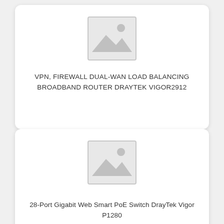[Figure (illustration): Placeholder image icon for product with no photo — grey landscape/mountain icon inside a grey bordered square frame]
VPN, FIREWALL DUAL-WAN LOAD BALANCING BROADBAND ROUTER DRAYTEK VIGOR2912
[Figure (illustration): Placeholder image icon for product with no photo — grey landscape/mountain icon inside a grey bordered square frame]
28-Port Gigabit Web Smart PoE Switch DrayTek Vigor P1280